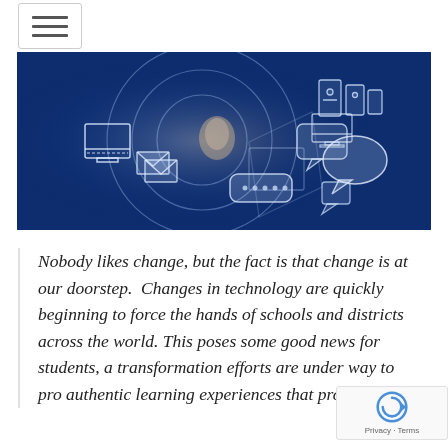☰ (hamburger menu icon)
[Figure (photo): Hero image of a hand pointing at digital technology communication icons (email envelopes, chat bubbles, computer monitors, desktop PCs) on a dark blue background, representing digital transformation in education.]
Nobody likes change, but the fact is that change is at our doorstep. Changes in technology are quickly beginning to force the hands of schools and districts across the world. This poses some good news for students, a transformation efforts are under way to pro authentic learning experiences that provide